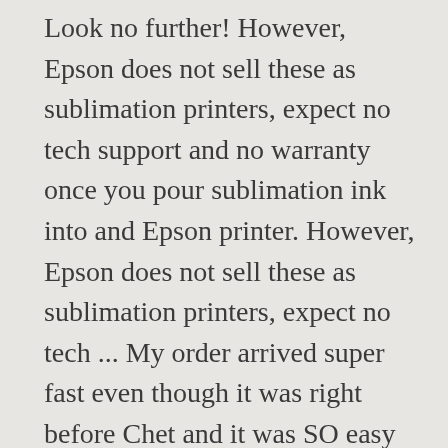Look no further! However, Epson does not sell these as sublimation printers, expect no tech support and no warranty once you pour sublimation ink into and Epson printer. However, Epson does not sell these as sublimation printers, expect no tech ... My order arrived super fast even though it was right before Chet and it was SO easy to fill my Epson 2720 with Cosmos inks! All Epson Printers use Piezo print technology which is exactly why so many people turn them into sublimation ink printers. ... I have a Canon Selphy which prints 4x6 inch dye/sub prints. I was learning as I was going so bare with me. EPSON Stylus Pro 4000/7600/9600; EPSON Stylus Pro 4000; EPSON Stylus Pro 4000...